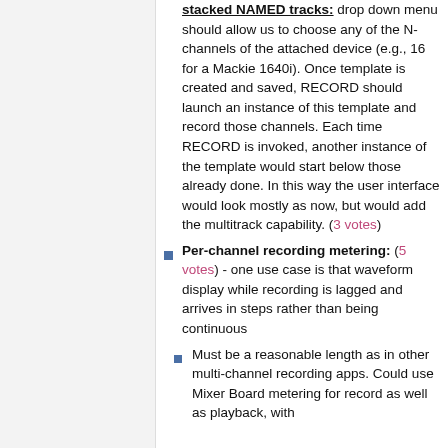stacked NAMED tracks: drop down menu should allow us to choose any of the N-channels of the attached device (e.g., 16 for a Mackie 1640i). Once template is created and saved, RECORD should launch an instance of this template and record those channels. Each time RECORD is invoked, another instance of the template would start below those already done. In this way the user interface would look mostly as now, but would add the multitrack capability. (3 votes)
Per-channel recording metering: (5 votes) - one use case is that waveform display while recording is lagged and arrives in steps rather than being continuous
Must be a reasonable length as in other multi-channel recording apps. Could use Mixer Board metering for record as well as playback, with